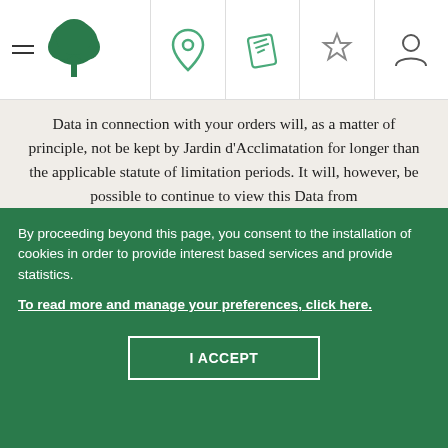[Figure (screenshot): Website navigation bar with hamburger menu, green tree logo, and icons for location pin, ticket, star/favorites, and user account]
completed. If your account remains inactive for more than three (3) years, Jardin d'Acclimatation will contact you to check whether you want to keep it or not. Otherwise, your account will be deactivated and your Data destroyed.
Data in connection with your orders will, as a matter of principle, not be kept by Jardin d'Acclimatation for longer than the applicable statute of limitation periods. It will, however, be possible to continue to view this Data from
By proceeding beyond this page, you consent to the installation of cookies in order to provide interest based services and provide statistics.
To read more and manage your preferences, click here.
I ACCEPT